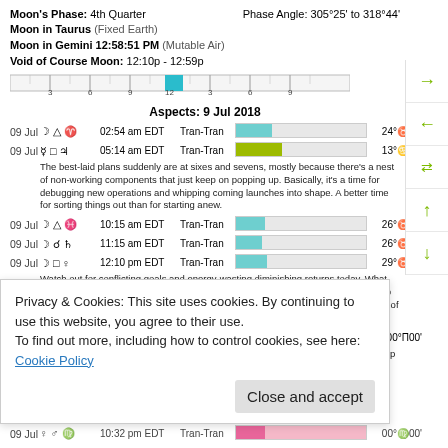Moon's Phase: 4th Quarter    Phase Angle: 305°25' to 318°44'
Moon in Taurus (Fixed Earth)
Moon in Gemini 12:58:51 PM (Mutable Air)
Void of Course Moon: 12:10p - 12:59p
[Figure (infographic): Timeline ruler bar showing Void of Course Moon period 12:10p-12:59p highlighted in teal, with tick marks at 3, 6, 9, 12, 3, 6, 9]
Aspects: 9 Jul 2018
09 Jul ♃ △ ♈ 02:54 am EDT Tran-Tran 24°♉02'
09 Jul ♀ □ ♃ 05:14 am EDT Tran-Tran 13°♋21'
The best-laid plans suddenly are at sixes and sevens, mostly because there's a nest of non-working components that just keep on popping up. Basically, it's a time for debugging new operations and whipping coming launches into shape. A better time for sorting things out than for starting anew.
09 Jul ♃ △ ♓ 10:15 am EDT Tran-Tran 26°♉23'
09 Jul ♃ ☌ ♄ 11:15 am EDT Tran-Tran 26°♉59'
09 Jul ♃ □ ♀ 12:10 pm EDT Tran-Tran 29°♉31'
Watch out for conflicting goals and energy-wasting diminishing returns today. What may seem like deceit could be just mixed emotions, or vice versa. Rather than jump into a stewpot, let it boil a bit and see if it simmers down. When all get more certain of what they want, it will be easier to move in concert together.
09 Jul ♃ ♂ Π 12:58 pm EDT Tran-Tran 00°Π00'
Words abound and messages fly for the next couple of days, when talk will be cheap but
Privacy & Cookies: This site uses cookies. By continuing to use this website, you agree to their use. To find out more, including how to control cookies, see here: Cookie Policy
09 Jul ♀ ♂ ♍ 10:32 pm EDT Tran-Tran 00°♍00'